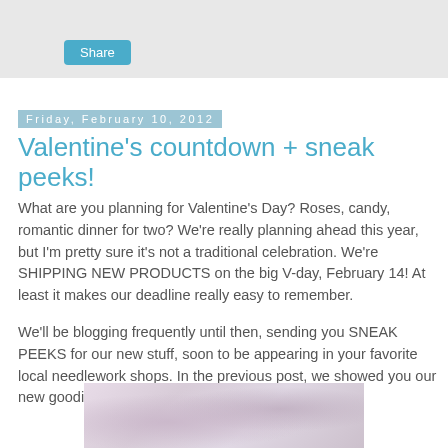Share
Friday, February 10, 2012
Valentine's countdown + sneak peeks!
What are you planning for Valentine's Day? Roses, candy, romantic dinner for two? We're really planning ahead this year, but I'm pretty sure it's not a traditional celebration. We're SHIPPING NEW PRODUCTS on the big V-day, February 14! At least it makes our deadline really easy to remember.
We'll be blogging frequently until then, sending you SNEAK PEEKS for our new stuff, soon to be appearing in your favorite local needlework shops. In the previous post, we showed you our new goodies at the printer...literally "hot off the press"!
[Figure (photo): Photo of needlework or craft items, partially visible at bottom of page]